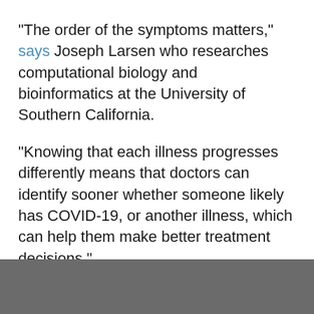"The order of the symptoms matters," says Joseph Larsen who researches computational biology and bioinformatics at the University of Southern California.
"Knowing that each illness progresses differently means that doctors can identify sooner whether someone likely has COVID-19, or another illness, which can help them make better treatment decisions."
When the researchers simulated the symptoms of COVID-19 for 500,000 patients, they found "a most common order of discernible symptoms...